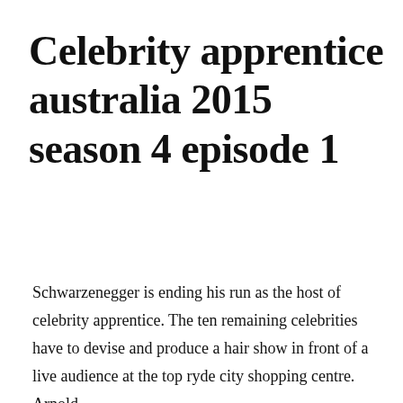Celebrity apprentice australia 2015 season 4 episode 1
Schwarzenegger is ending his run as the host of celebrity apprentice. The ten remaining celebrities have to devise and produce a hair show in front of a live audience at the top ryde city shopping centre. Arnold